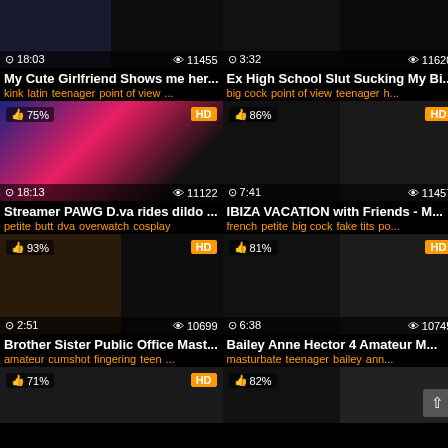[Figure (screenshot): Video thumbnail grid row 1 left - My Cute Girlfriend Shows me her...]
My Cute Girlfriend Shows me her...
kink latin teenager point of view ...
[Figure (screenshot): Video thumbnail grid row 1 right - Ex High School Slut Sucking My Bi...]
Ex High School Slut Sucking My Bi...
big cock point of view teenager h...
[Figure (screenshot): Video thumbnail 75% HD 18:13 11122 - Streamer PAWG D.va rides dildo...]
Streamer PAWG D.va rides dildo ...
petite butt dva overwatch cosplay
[Figure (screenshot): Video thumbnail 86% HD 7:41 11457 - IBIZA VACATION with Friends - M...]
IBIZA VACATION with Friends - M...
french petite big cock fake tits po...
[Figure (screenshot): Video thumbnail 93% HD 2:51 10699 - Brother Sister Public Office Mast...]
Brother Sister Public Office Mast...
amateur cumshot fingering teen ...
[Figure (screenshot): Video thumbnail 81% HD 6:38 10745 - Bailey Anne Hector 4 Amateur M...]
Bailey Anne Hector 4 Amateur M...
masturbate teenager bailey ann...
[Figure (screenshot): Video thumbnail 71% HD - bottom left partial]
[Figure (screenshot): Video thumbnail 82% - bottom right partial with scroll-to-top button]